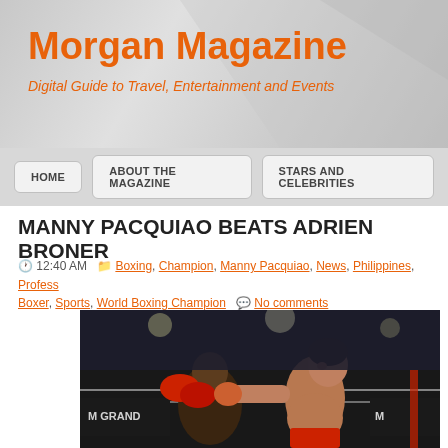Morgan Magazine - Digital Guide to Travel, Entertainment and Events
MANNY PACQUIAO BEATS ADRIEN BRONER
12:40 AM  Boxing, Champion, Manny Pacquiao, News, Philippines, Professional Boxer, Sports, World Boxing Champion  No comments
[Figure (photo): Boxing match photo showing Manny Pacquiao punching Adrien Broner in a dark arena with MGM Grand signage visible]